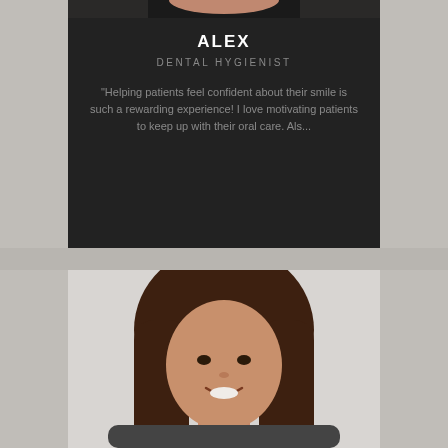[Figure (photo): Top portion of a woman wearing black, serving as profile photo for Alex]
ALEX
DENTAL HYGIENIST
"Helping patients feel confident about their smile is such a rewarding experience!  I love motivating patients to keep up with their oral care. Als...
[Figure (photo): Portrait photo of a smiling woman with brown shoulder-length hair, light background, wearing dark clothing]